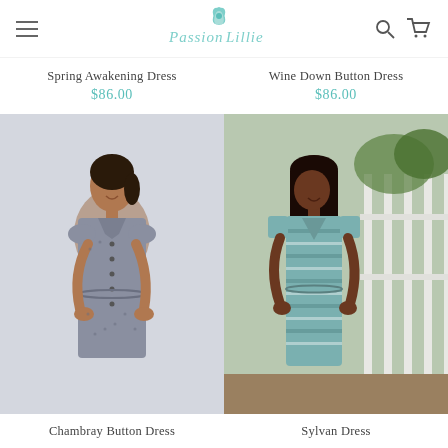Passion Lillie — navigation header with hamburger menu, logo, search and cart icons
Spring Awakening Dress
$86.00
Wine Down Button Dress
$86.00
[Figure (photo): Woman wearing a grey chambray button-front dress with cap sleeves, mandarin collar, buttons down front, and drawstring waist, hands in pockets]
Chambray Button Dress
[Figure (photo): Woman wearing a teal/white plaid V-neck dress with short sleeves and drawstring waist, standing in front of a white picket fence with greenery]
Sylvan Dress